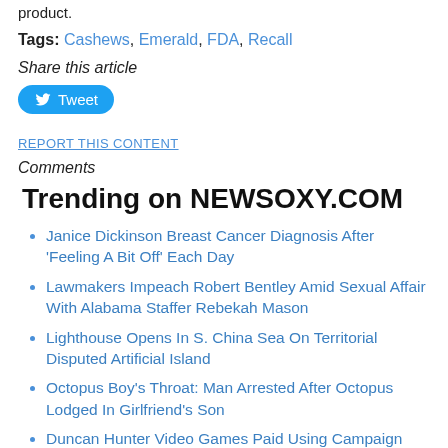product.
Tags: Cashews, Emerald, FDA, Recall
Share this article
Tweet
REPORT THIS CONTENT
Comments
Trending on NEWSOXY.COM
Janice Dickinson Breast Cancer Diagnosis After 'Feeling A Bit Off' Each Day
Lawmakers Impeach Robert Bentley Amid Sexual Affair With Alabama Staffer Rebekah Mason
Lighthouse Opens In S. China Sea On Territorial Disputed Artificial Island
Octopus Boy's Throat: Man Arrested After Octopus Lodged In Girlfriend's Son
Duncan Hunter Video Games Paid Using Campaign